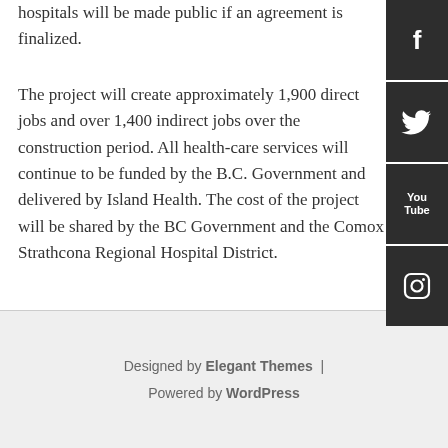hospitals will be made public if an agreement is finalized.
The project will create approximately 1,900 direct jobs and over 1,400 indirect jobs over the construction period. All health-care services will continue to be funded by the B.C. Government and delivered by Island Health. The cost of the project will be shared by the BC Government and the Comox Strathcona Regional Hospital District.
Designed by Elegant Themes | Powered by WordPress